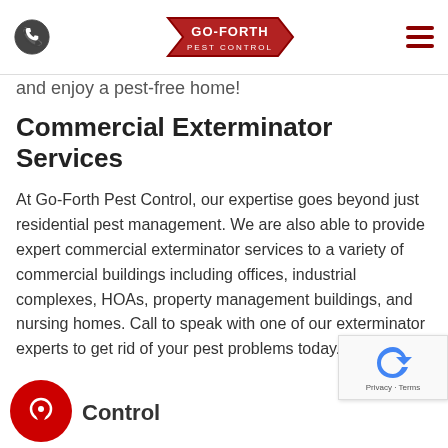[Figure (logo): Go-Forth Pest Control logo with arrow shape and navigation bar with phone icon and hamburger menu]
and enjoy a pest-free home!
Commercial Exterminator Services
At Go-Forth Pest Control, our expertise goes beyond just residential pest management. We are also able to provide expert commercial exterminator services to a variety of commercial buildings including offices, industrial complexes, HOAs, property management buildings, and nursing homes. Call to speak with one of our exterminator experts to get rid of your pest problems today.
Control